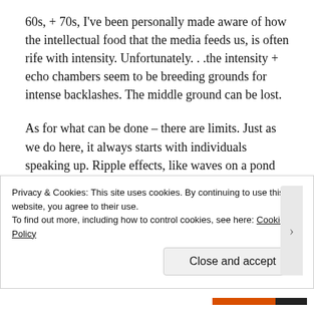60s, + 70s, I've been personally made aware of how the intellectual food that the media feeds us, is often rife with intensity. Unfortunately. . .the intensity + echo chambers seem to be breeding grounds for intense backlashes. The middle ground can be lost.
As for what can be done – there are limits. Just as we do here, it always starts with individuals speaking up. Ripple effects, like waves on a pond can often move things into a calmer time. As for
Privacy & Cookies: This site uses cookies. By continuing to use this website, you agree to their use.
To find out more, including how to control cookies, see here: Cookie Policy
Close and accept